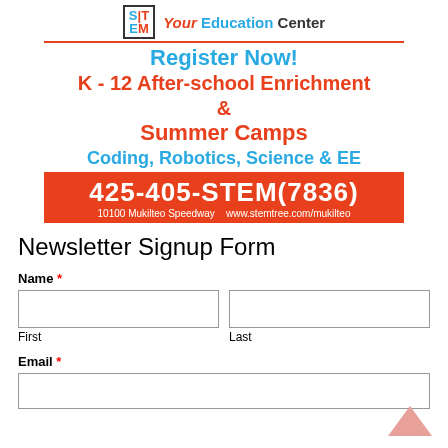[Figure (logo): STEM Tree Your Education Center logo with orange tree icon and STEM acronym]
Register Now!
K - 12 After-school Enrichment & Summer Camps
Coding, Robotics, Science & EE
425-405-STEM(7836)
10100 Mukilteo Speedway  www.stemtree.com/mukilteo
Newsletter Signup Form
Name *
First
Last
Email *